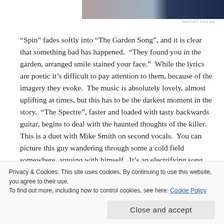[Figure (photo): Partial photo at top of page, showing two figures, with dark blue area on right]
REPORT THIS AD
“Spin” fades softly into “The Garden Song”, and it is clear that something bad has happened.  “They found you in the garden, arranged smile stained your face.”  While the lyrics are poetic it’s difficult to pay attention to them, because of the imagery they evoke.  The music is absolutely lovely, almost uplifting at times, but this has to be the darkest moment in the story.  “The Spectre”, faster and loaded with tasty backwards guitar, begins to deal with the haunted thoughts of the killer.  This is a duet with Mike Smith on second vocals.  You can picture this guy wandering through some a cold field somewhere, arguing with himself.  It’s an electrifying song, leading into the blitzkrieg of “Melt”.  This is the heaviest song Sandbox have ever done, blasting with a heavy chunk-tastic riff.  “Better stories, a
Privacy & Cookies: This site uses cookies. By continuing to use this website, you agree to their use.
To find out more, including how to control cookies, see here: Cookie Policy
Close and accept